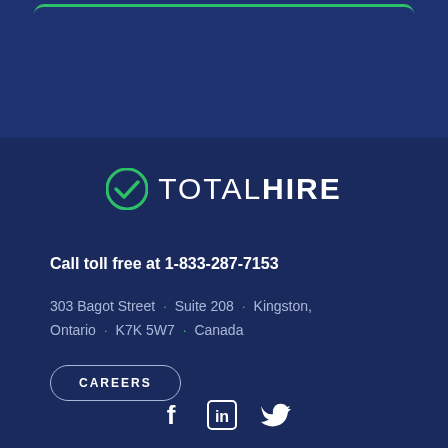[Figure (logo): TotalHire logo with green checkmark circle icon and text TOTALHIRE in white]
Call toll free at 1-833-287-7153
303 Bagot Street · Suite 208 · Kingston, Ontario · K7K 5W7 · Canada
CAREERS
[Figure (illustration): Social media icons: Facebook, LinkedIn, Twitter in white]